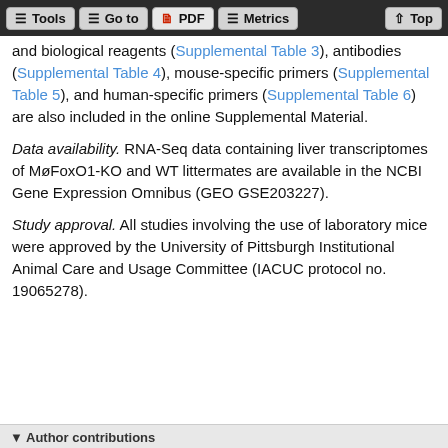Tools | Go to | PDF | Metrics | Top
and biological reagents (Supplemental Table 3), antibodies (Supplemental Table 4), mouse-specific primers (Supplemental Table 5), and human-specific primers (Supplemental Table 6) are also included in the online Supplemental Material.
Data availability. RNA-Seq data containing liver transcriptomes of MøFoxO1-KO and WT littermates are available in the NCBI Gene Expression Omnibus (GEO GSE203227).
Study approval. All studies involving the use of laboratory mice were approved by the University of Pittsburgh Institutional Animal Care and Usage Committee (IACUC protocol no. 19065278).
Author contributions